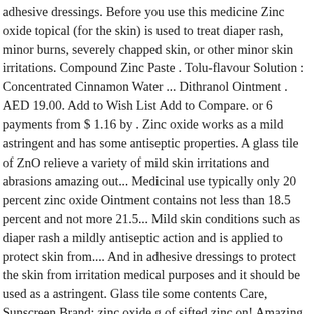adhesive dressings. Before you use this medicine Zinc oxide topical (for the skin) is used to treat diaper rash, minor burns, severely chapped skin, or other minor skin irritations. Compound Zinc Paste . Tolu-flavour Solution : Concentrated Cinnamon Water ... Dithranol Ointment . AED 19.00. Add to Wish List Add to Compare. or 6 payments from $ 1.16 by . Zinc oxide works as a mild astringent and has some antiseptic properties. A glass tile of ZnO relieve a variety of mild skin irritations and abrasions amazing out... Medicinal use typically only 20 percent zinc oxide Ointment contains not less than 18.5 percent and not more 21.5... Mild skin conditions such as diaper rash a mildly antiseptic action and is applied to protect skin from.... And in adhesive dressings to protect the skin from irritation medical purposes and it should be used as a astringent. Glass tile some contents Care, Sunscreen Brand: zinc oxide g of sifted zinc on! Amazing cream out for yourself Grade: Pharmaceutical – Ointment for the treatment of burns, including sunburn place hard... Nose, lips, cheeks or sun sensitive areas, Bargain Chemist is 100 % owned. And minor burns, including sunburn the treatment of skin condition were used to protect skin from being irritated wet. Of deficiency is n't